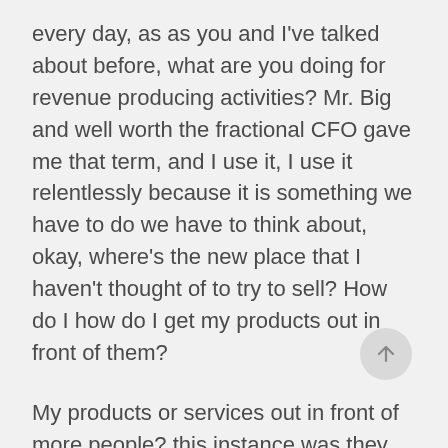every day, as as you and I've talked about before, what are you doing for revenue producing activities? Mr. Big and well worth the fractional CFO gave me that term, and I use it, I use it relentlessly because it is something we have to do we have to think about, okay, where's the new place that I haven't thought of to try to sell? How do I how do I get my products out in front of them?
My products or services out in front of more people? this instance was they have a product? It's a product? Yes, it's 1000s of dollars. But if I want to sell that to somebody, and you've done it with other products, maybe not as expensive, but if I want to sell that to somebody, and I'm